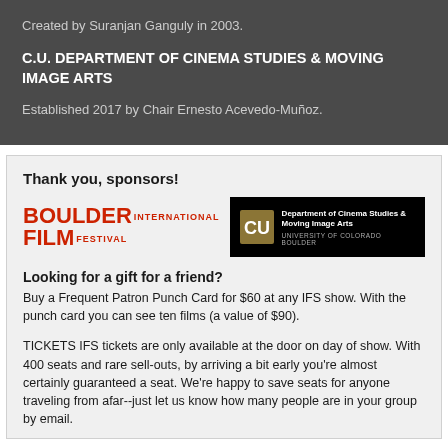Created by Suranjan Ganguly in 2003.
C.U. DEPARTMENT OF CINEMA STUDIES & MOVING IMAGE ARTS
Established 2017 by Chair Ernesto Acevedo-Muñoz.
Thank you, sponsors!
[Figure (logo): Boulder International Film Festival logo and CU Department of Cinema Studies & Moving Image Arts logo side by side]
Looking for a gift for a friend?
Buy a Frequent Patron Punch Card for $60 at any IFS show. With the punch card you can see ten films (a value of $90).
TICKETS IFS tickets are only available at the door on day of show. With 400 seats and rare sell-outs, by arriving a bit early you're almost certainly guaranteed a seat. We're happy to save seats for anyone traveling from afar--just let us know how many people are in your group by email.